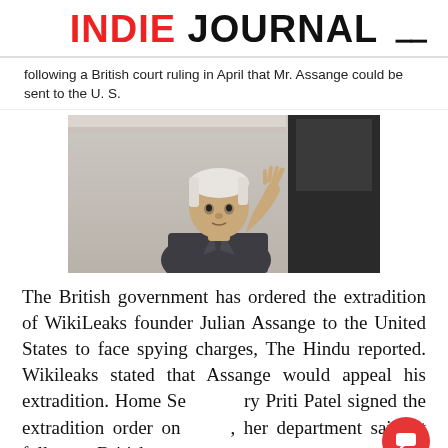INDIE JOURNAL
following a British court ruling in April that Mr. Assange could be sent to the U. S.
[Figure (photo): Photo of Julian Assange with white/grey hair raising his hand, standing outside a building]
The British government has ordered the extradition of WikiLeaks founder Julian Assange to the United States to face spying charges, The Hindu reported. Wikileaks stated that Assange would appeal his extradition. Home Secretary Priti Patel signed the extradition order on, her department said. It follows a British court